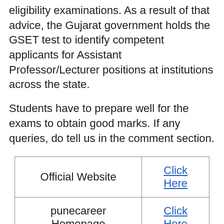eligibility examinations. As a result of that advice, the Gujarat government holds the GSET test to identify competent applicants for Assistant Professor/Lecturer positions at institutions across the state.
Students have to prepare well for the exams to obtain good marks. If any queries, do tell us in the comment section.
|  |  |
| --- | --- |
| Official Website | Click Here |
| punecareer Homepage | Click Here |